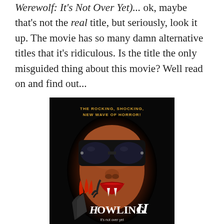Werewolf: It's Not Over Yet)... ok, maybe that's not the real title, but seriously, look it up. The movie has so many damn alternative titles that it's ridiculous. Is the title the only misguided thing about this movie? Well read on and find out...
[Figure (photo): Movie poster for Howling II. Dark background showing a woman's face with large black sunglasses, red lips, and vampire fangs. Clawed hands in foreground. Text at top reads 'THE ROCKING, SHOCKING, NEW WAVE OF HORROR!' and title 'HOWLING II It's not over yet' at bottom.]